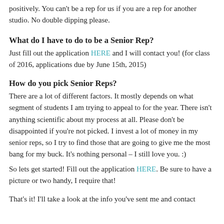positively. You can't be a rep for us if you are a rep for another studio. No double dipping please.
What do I have to do to be a Senior Rep?
Just fill out the application HERE and I will contact you! (for class of 2016, applications due by June 15th, 2015)
How do you pick Senior Reps?
There are a lot of different factors. It mostly depends on what segment of students I am trying to appeal to for the year. There isn't anything scientific about my process at all. Please don't be disappointed if you're not picked. I invest a lot of money in my senior reps, so I try to find those that are going to give me the most bang for my buck. It's nothing personal – I still love you. :)
So lets get started! Fill out the application HERE. Be sure to have a picture or two handy, I require that!
That's it! I'll take a look at the info you've sent me and contact